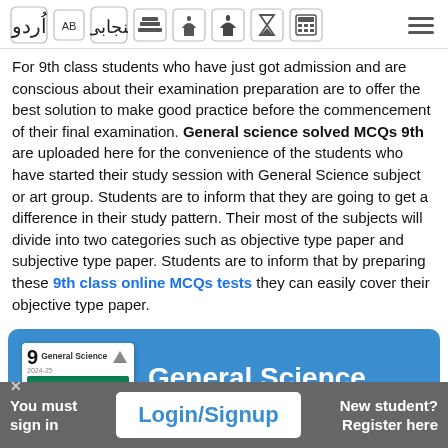Navigation bar with Urdu, Punjabi, and subject icons
For 9th class students who have just got admission and are conscious about their examination preparation are to offer the best solution to make good practice before the commencement of their final examination. General science solved MCQs 9th are uploaded here for the convenience of the students who have started their study session with General Science subject or art group. Students are to inform that they are going to get a difference in their study pattern. Their most of the subjects will divide into two categories such as objective type paper and subjective type paper. Students are to inform that by preparing these 9th class online MCQs tests they can easily cover their objective type paper.
[Figure (infographic): Blue card with General Science grade 9 book thumbnail on the left and 'General Science' text in white bold on the right]
You must sign in   Login/Signup   New student? Register here